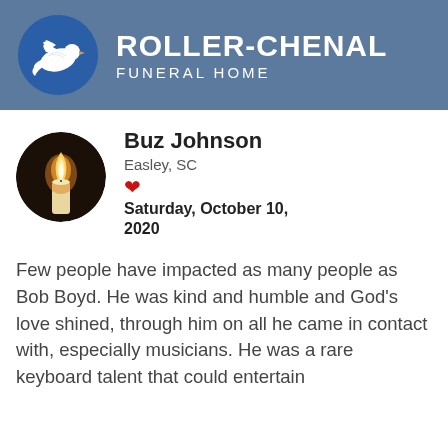[Figure (logo): Roller-Chenal Funeral Home header with dove logo on blue background]
Buz Johnson
Easley, SC
Saturday, October 10, 2020
Few people have impacted as many people as Bob Boyd. He was kind and humble and God's love shined, through him on all he came in contact with, especially musicians. He was a rare keyboard talent that could entertain